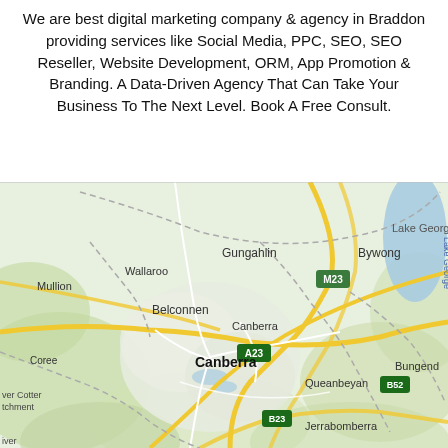We are best digital marketing company & agency in Braddon providing services like Social Media, PPC, SEO, SEO Reseller, Website Development, ORM, App Promotion & Branding. A Data-Driven Agency That Can Take Your Business To The Next Level. Book A Free Consult.
[Figure (map): Google Maps view of Canberra, Australia and surrounding regions including Gungahlin, Belconnen, Queanbeyan, Jerrabomberra, Bywong, Lake George, Wallaroo, Mullion, Coree, Bungendore, and Jerrabomberra. Road markers A23, B23, B52, M23 visible. Canberra label in bold.]